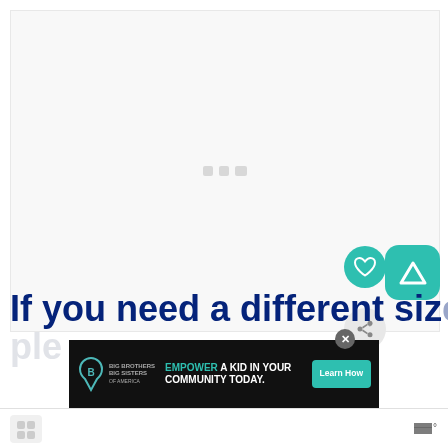[Figure (screenshot): Light gray content area placeholder with three small gray squares in the center, representing a loading or empty state UI]
If you need a different size
[Figure (screenshot): UI elements: teal heart button, gray share button, teal triangle/app icon button on the right side]
[Figure (screenshot): Advertisement banner: Big Brothers Big Sisters logo, text EMPOWER A KID IN YOUR COMMUNITY TODAY., Learn How button, close button]